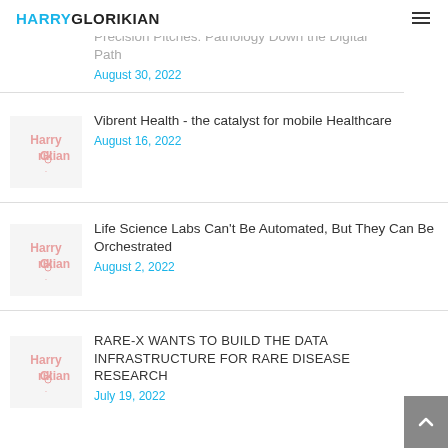HARRYGLORIKIAN
Precision Pitches: Pathology Down the Digital Path
August 30, 2022
Vibrent Health - the catalyst for mobile Healthcare
August 16, 2022
Life Science Labs Can't Be Automated, But They Can Be Orchestrated
August 2, 2022
RARE-X WANTS TO BUILD THE DATA INFRASTRUCTURE FOR RARE DISEASE RESEARCH
July 19, 2022